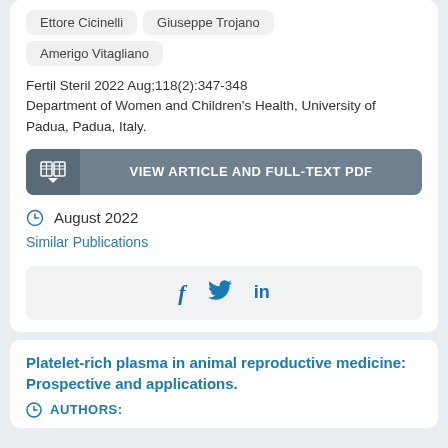Ettore Cicinelli
Giuseppe Trojano
Amerigo Vitagliano
Fertil Steril 2022 Aug;118(2):347-348
Department of Women and Children's Health, University of Padua, Padua, Italy.
VIEW ARTICLE AND FULL-TEXT PDF
August 2022
Similar Publications
[Figure (other): Social sharing icons: Facebook (f), Twitter (bird), LinkedIn (in)]
Platelet-rich plasma in animal reproductive medicine: Prospective and applications.
AUTHORS: